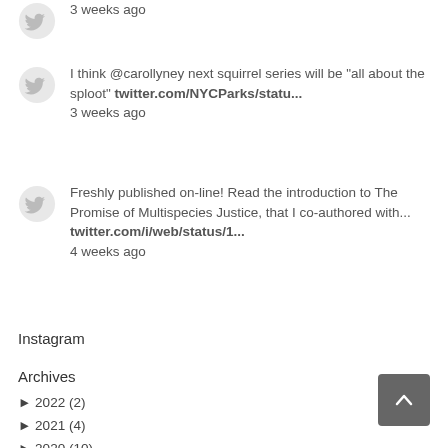3 weeks ago
I think @carollyney next squirrel series will be "all about the sploot" twitter.com/NYCParks/statu... 3 weeks ago
Freshly published on-line! Read the introduction to The Promise of Multispecies Justice, that I co-authored with... twitter.com/i/web/status/1... 4 weeks ago
Instagram
Archives
► 2022 (2)
► 2021 (4)
► 2020 (10)
► 2019 (9)